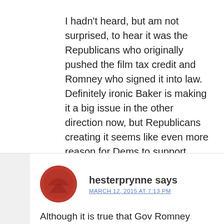I hadn't heard, but am not surprised, to hear it was the Republicans who originally pushed the film tax credit and Romney who signed it into law. Definitely ironic Baker is making it a big issue in the other direction now, but Republicans creating it seems like even more reason for Dems to support ending this crazy subsidy.
Log in to Reply
hesterprynne says
MARCH 12, 2015 AT 7:13 PM
Although it is true that Gov Romney